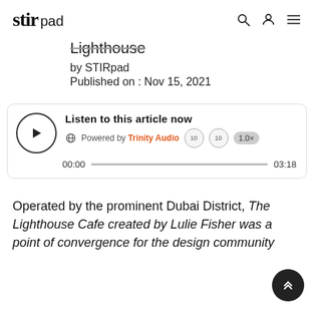stir pad
Lighthouse
by STIRpad
Published on : Nov 15, 2021
[Figure (other): Audio player widget: 'Listen to this article now', Powered by Trinity Audio, 00:00 to 03:18 progress bar, 1.0x speed]
Operated by the prominent Dubai District, The Lighthouse Cafe created by Lulie Fisher was a point of convergence for the design community